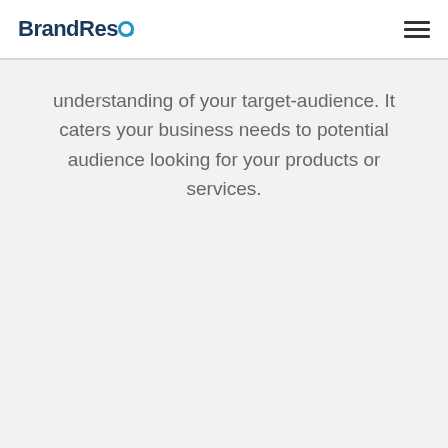BrandResQ
understanding of your target-audience. It caters your business needs to potential audience looking for your products or services.